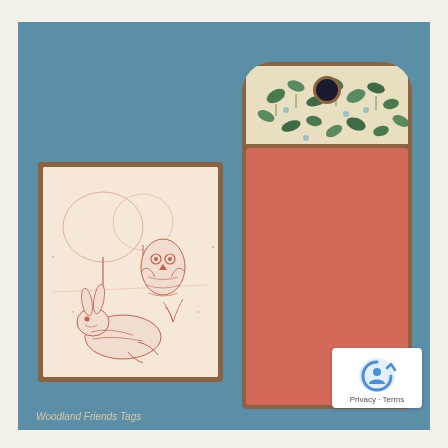[Figure (photo): Craft/scrapbooking photo showing two handmade paper items on a blue textured linen background. On the left is a small card with a brown border featuring a pink/coral vintage woodland illustration of an owl, rabbit/hare, and trees. On the right is a tall bookmark/tag with a decorative arched top featuring green leaf and floral pattern on cream background with a dark metal eyelet hole, and a coral/salmon colored body. Bottom right corner shows a reCAPTCHA logo widget with 'Privacy · Terms' text.]
Woodland Friends Tags